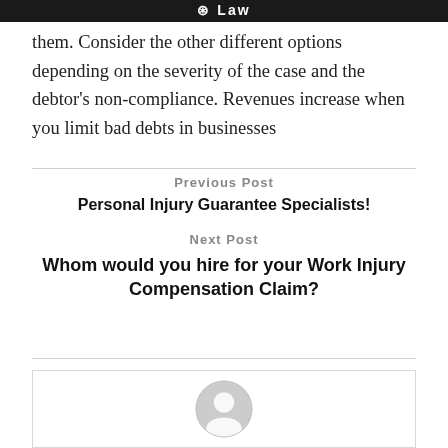Law
them. Consider the other different options depending on the severity of the case and the debtor's non-compliance. Revenues increase when you limit bad debts in businesses
Previous Post
Personal Injury Guarantee Specialists!
Next Post
Whom would you hire for your Work Injury Compensation Claim?
[Figure (illustration): User avatar placeholder icon — circular grey silhouette]